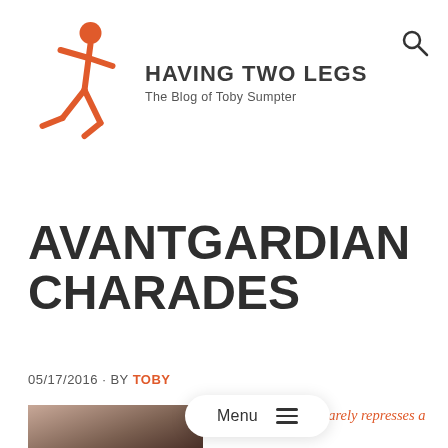[Figure (logo): Having Two Legs blog logo: orange stick figure walking, with bold site title and subtitle]
AVANTGARDIAN CHARADES
05/17/2016 · BY TOBY
Menu ≡
Jonathan Merritt barely represses a